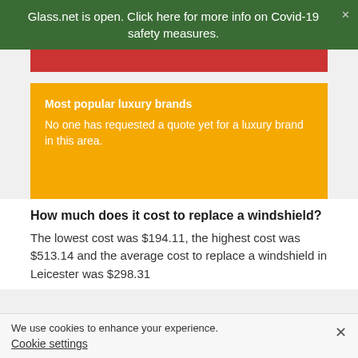Glass.net is open. Click here for more info on Covid-19 safety measures.
[Figure (other): Red banner bar at top of content area]
Most popular luxury brands
No one has requested a quote yet for a luxury brand in this area.
How much does it cost to replace a windshield?
The lowest cost was $194.11, the highest cost was $513.14 and the average cost to replace a windshield in Leicester was $298.31
We use cookies to enhance your experience.
Cookie settings